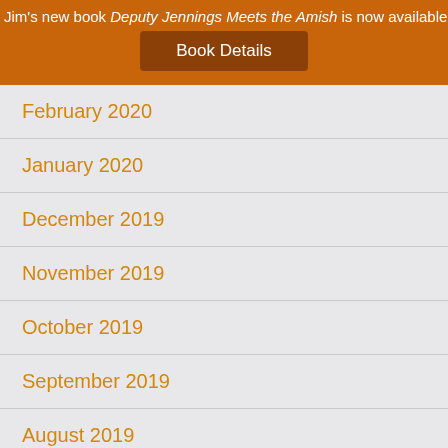Jim's new book Deputy Jennings Meets the Amish is now available!
Book Details
February 2020
January 2020
December 2019
November 2019
October 2019
September 2019
August 2019
July 2019
June 2019